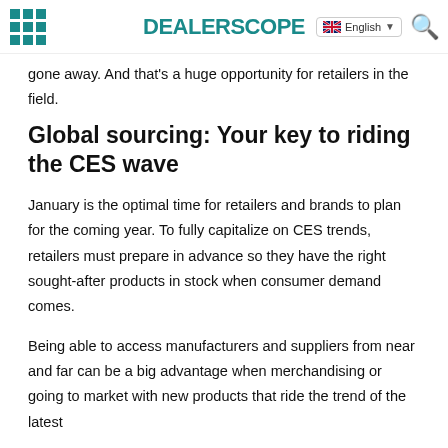DEALERSCOPE
gone away. And that's a huge opportunity for retailers in the field.
Global sourcing: Your key to riding the CES wave
January is the optimal time for retailers and brands to plan for the coming year. To fully capitalize on CES trends, retailers must prepare in advance so they have the right sought-after products in stock when consumer demand comes.
Being able to access manufacturers and suppliers from near and far can be a big advantage when merchandising or going to market with new products that ride the trend of the latest